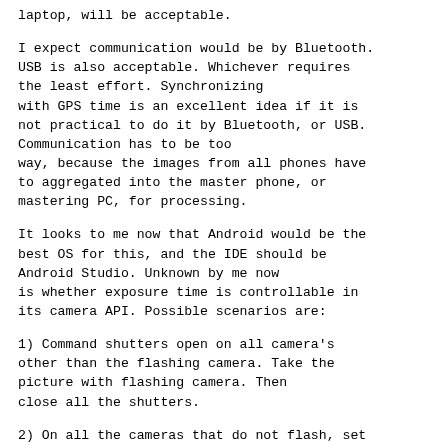laptop, will be acceptable.
I expect communication would be by Bluetooth. USB is also acceptable. Whichever requires the least effort. Synchronizing with GPS time is an excellent idea if it is not practical to do it by Bluetooth, or USB. Communication has to be too way, because the images from all phones have to aggregated into the master phone, or mastering PC, for processing.
It looks to me now that Android would be the best OS for this, and the IDE should be Android Studio. Unknown by me now is whether exposure time is controllable in its camera API. Possible scenarios are:
1) Command shutters open on all camera's other than the flashing camera. Take the picture with flashing camera. Then close all the shutters.
2) On all the cameras that do not flash, set